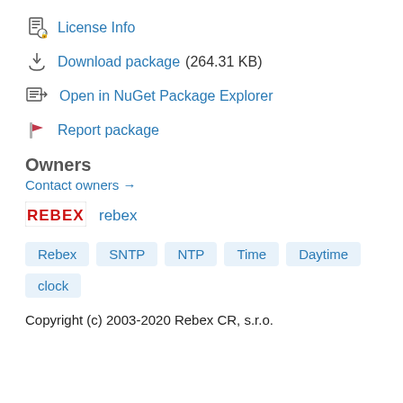License Info
Download package (264.31 KB)
Open in NuGet Package Explorer
Report package
Owners
Contact owners →
[Figure (logo): Rebex logo — red stylized text reading REBEX]
rebex
Rebex  SNTP  NTP  Time  Daytime  clock
Copyright (c) 2003-2020 Rebex CR, s.r.o.